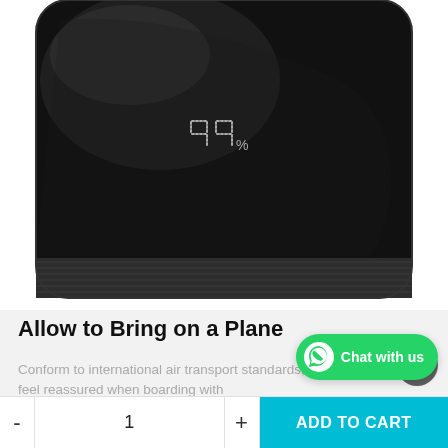[Figure (photo): Top-down view of a black portable power bank with a glossy surface showing '99%' in a dotted LED display, with a textured fabric bottom edge]
Allow to Bring on a Plane
Conform to international air transport standards, just feel reassured when boarding with
[Figure (photo): Partial view of a second product lifestyle image showing glasses on a white surface]
[Figure (other): WhatsApp Chat with us green button overlay]
[Figure (other): Scroll up circular button]
- 1 + ADD TO CART